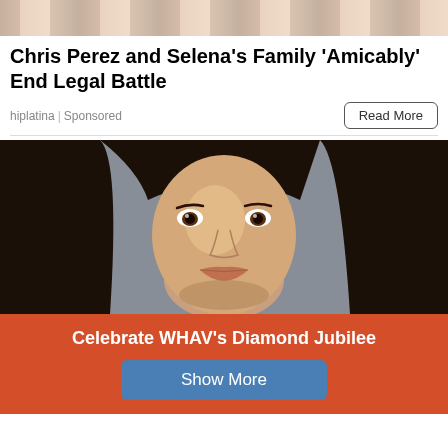[Figure (photo): Partial top banner image showing a person, cropped at the top of the page]
Chris Perez and Selena's Family 'Amicably' End Legal Battle
hiplatina | Sponsored
Read More
[Figure (photo): Mugshot-style photo of a young woman with long dark hair against a gray background]
Celebrate WHAV's Diamond Jubilee
Show More